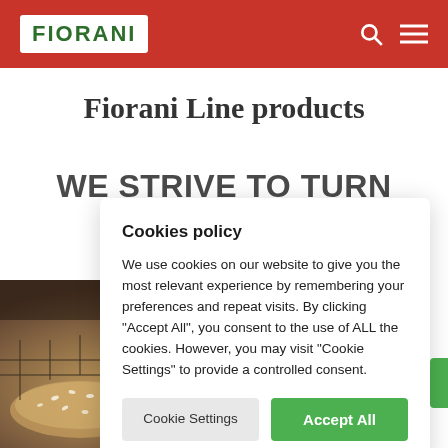FIORANI
Fiorani Line products
WE STRIVE TO TURN COMPLEX RESEARCH SURPRI CO
[Figure (photo): Close-up photo of bread/baked goods with sesame seeds on a baking rack]
Cookies policy

We use cookies on our website to give you the most relevant experience by remembering your preferences and repeat visits. By clicking "Accept All", you consent to the use of ALL the cookies. However, you may visit "Cookie Settings" to provide a controlled consent.
Cookie Settings
Accept All